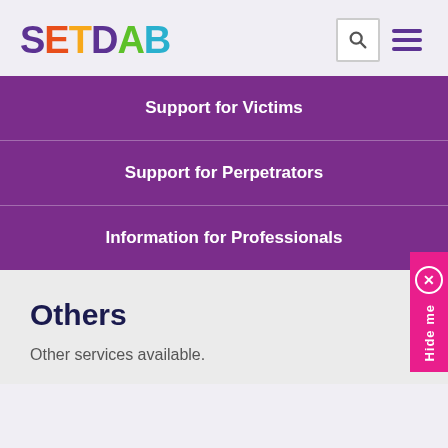SETDAB
Support for Victims
Support for Perpetrators
Information for Professionals
Others
Other services available.